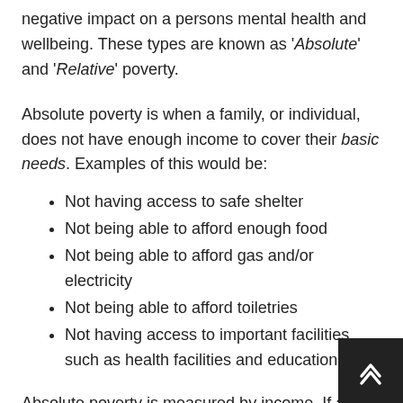negative impact on a persons mental health and wellbeing. These types are known as 'Absolute' and 'Relative' poverty.
Absolute poverty is when a family, or individual, does not have enough income to cover their basic needs. Examples of this would be:
Not having access to safe shelter
Not being able to afford enough food
Not being able to afford gas and/or electricity
Not being able to afford toiletries
Not having access to important facilities such as health facilities and education
Absolute poverty is measured by income. If an individual or a family earn below 60% of minimum